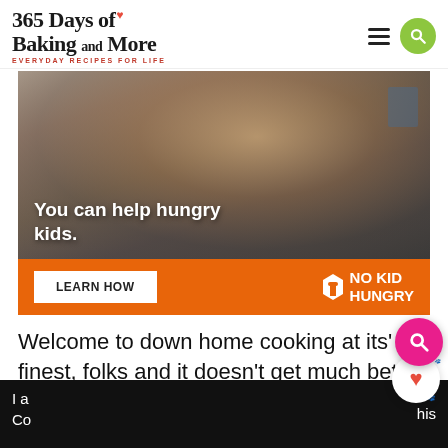365 Days of Baking and More — EVERYDAY RECIPES FOR LIFE
[Figure (photo): Advertisement banner showing a young child eating, with text 'You can help hungry kids.' and an orange bar below with a 'LEARN HOW' button and 'NO KID HUNGRY' logo]
Welcome to down home cooking at its' finest, folks and it doesn't get much better than this!
I a
Co
ov
his